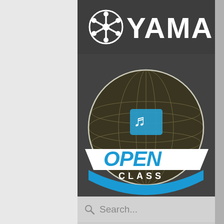[Figure (logo): Yamaha logo with tuning fork emblem and YAMAHA wordmark in white on dark gray background]
[Figure (logo): Yamaha Open Class badge/emblem: circular dark globe design with music note icon, white banner with blue OPEN text, and blue CLASS text below]
Search...
WATCH LIVE
FLO MARCHING
[Figure (infographic): Social media icons bar: Facebook, Instagram, YouTube, Email icons on light gray background]